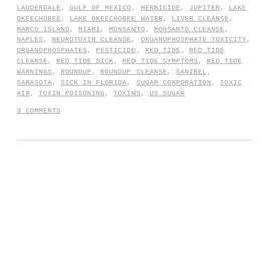LAUDERDALE, GULF OF MEXICO, HERBICIDE, JUPITER, LAKE OKEECHOBEE, LAKE OKEECHOBEE WATER, LIVER CLEANSE, MARCO ISLAND, MIAMI, MONSANTO, MONSANTO CLEANSE, NAPLES, NEUROTOXIN CLEANSE, ORGANOPHOSPHATE TOXICITY, ORGANOPHOSPHATES, PESTICIDE, RED TIDE, RED TIDE CLEANSE, RED TIDE SICK, RED TIDE SYMPTOMS, RED TIDE WARNINGS, ROUNDUP, ROUNDUP CLEANSE, SANIBEL, SARASOTA, SICK IN FLORIDA, SUGAR CORPORATION, TOXIC AIR, TOXIN POISONING, TOXINS, US SUGAR
3 COMMENTS